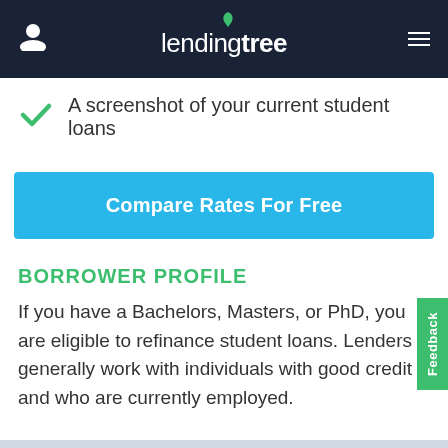[Figure (screenshot): LendingTree mobile app navigation bar with user icon, LendingTree logo with green leaf, and hamburger menu on dark navy background]
A screenshot of your current student loans
[Figure (other): Blue 'Compare Rates For Free' call-to-action button]
BORROWER PROFILE
If you have a Bachelors, Masters, or PhD, you are eligible to refinance student loans. Lenders generally work with individuals with good credit and who are currently employed.